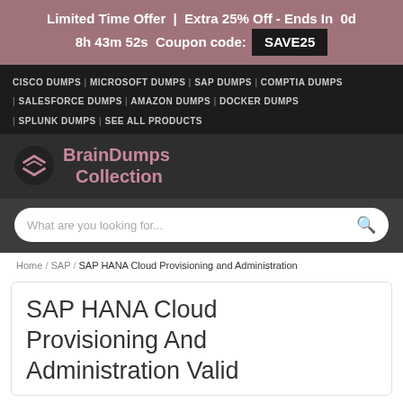Limited Time Offer | Extra 25% Off - Ends In  0d 8h 43m 52s  Coupon code: SAVE25
CISCO DUMPS | MICROSOFT DUMPS | SAP DUMPS | COMPTIA DUMPS | SALESFORCE DUMPS | AMAZON DUMPS | DOCKER DUMPS | SPLUNK DUMPS | SEE ALL PRODUCTS
[Figure (logo): BrainDumps Collection logo with diamond/chevron icon in dark circle]
What are you looking for...
Home / SAP / SAP HANA Cloud Provisioning and Administration
SAP HANA Cloud Provisioning And Administration Valid